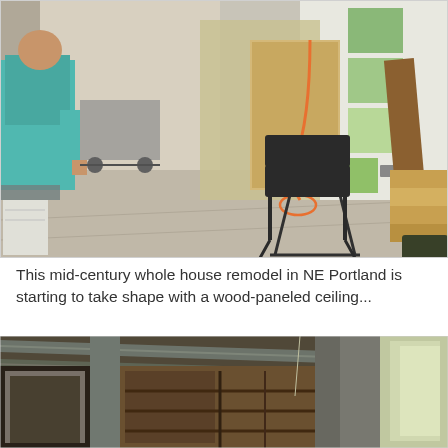[Figure (photo): Interior construction photo of a house remodel under progress: person in teal shirt on left, folding chair on floor, plywood panels, orange extension cord, lumber stacked on right, green paint samples on far wall]
This mid-century whole house remodel in NE Portland is starting to take shape with a wood-paneled ceiling...
[Figure (photo): Interior photo looking up at a wood-paneled ceiling with exposed beams/rafters painted white/gray, partial view of a doorway and wooden cabinet structure, exterior light visible at right edge]